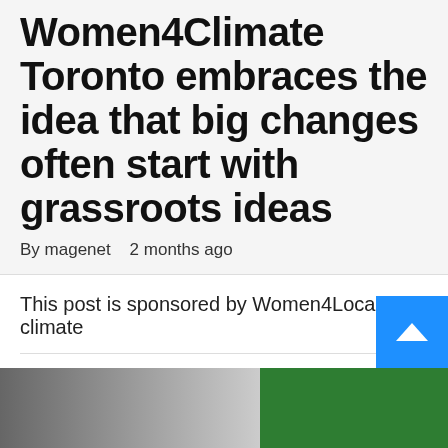Women4Climate Toronto embraces the idea that big changes often start with grassroots ideas
By magenet   2 months ago
This post is sponsored by Women4Local climate
[Figure (photo): Photo strip showing people in winter clothing on the left and a green background on the right]